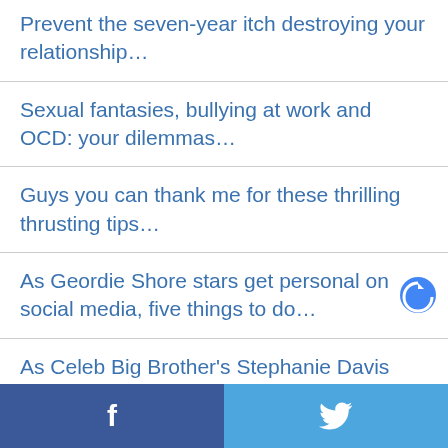Prevent the seven-year itch destroying your relationship…
Sexual fantasies, bullying at work and OCD: your dilemmas…
Guys you can thank me for these thrilling thrusting tips…
As Geordie Shore stars get personal on social media, five things to do…
As Celeb Big Brother's Stephanie Davis and Jeremy McConnell hit the press again…
As vibrators hit the news, here are some
f  🐦